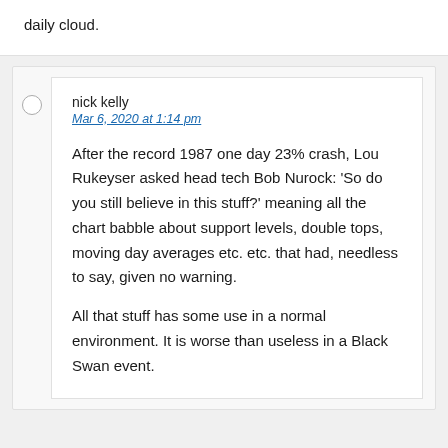daily cloud.
nick kelly
Mar 6, 2020 at 1:14 pm
After the record 1987 one day 23% crash, Lou Rukeyser asked head tech Bob Nurock: ‘So do you still believe in this stuff?’ meaning all the chart babble about support levels, double tops, moving day averages etc. etc. that had, needless to say, given no warning.
All that stuff has some use in a normal environment. It is worse than useless in a Black Swan event.